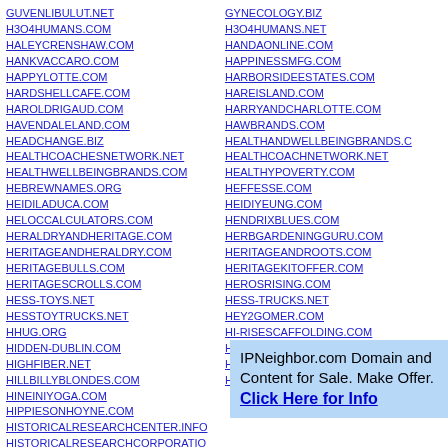GUVENLIBULUT.NET
H3O4HUMANS.COM
HALEYCRENSHAW.COM
HANKVACCARO.COM
HAPPYLOTTE.COM
HARDSHELLCAFE.COM
HAROLDRIGAUD.COM
HAVENDALELAND.COM
HEADCHANGE.BIZ
HEALTHCOACHESNETWORK.NET
HEALTHWELLBEINGBRANDS.COM
HEBREWNAMES.ORG
HEIDILADUCA.COM
HELOCCALCULATORS.COM
HERALDRYANDHERITAGE.COM
HERITAGEANDHERALDRY.COM
HERITAGEBULLS.COM
HERITAGESCROLLS.COM
HESS-TOYS.NET
HESSTOYTRUCKS.NET
HHUG.ORG
HIDDEN-DUBLIN.COM
HIGHFIBER.NET
HILLBILLYBLONDES.COM
HINEINIYOGA.COM
HIPPIESONHOYNE.COM
HISTORICALRESEARCHCENTER.INFO
HISTORICALRESEARCHCORPORATIO
GYNECOLOGY.BIZ
H3O4HUMANS.NET
HANDAONLINE.COM
HAPPINESSMFG.COM
HARBORSIDEESTATES.COM
HAREISLAND.COM
HARRYANDCHARLOTTE.COM
HAWBRANDS.COM
HEALTHANDWELLBEINGBRANDS.C
HEALTHCOACHNETWORK.NET
HEALTHYPOVERTY.COM
HEFFESSE.COM
HEIDIYEUNG.COM
HENDRIXBLUES.COM
HERBGARDENINGGURU.COM
HERITAGEANDROOTS.COM
HERITAGEKITOFFER.COM
HEROSRISING.COM
HESS-TRUCKS.NET
HEY2GOMER.COM
HI-RISESCAFFOLDING.COM
HIDDEN-ITALY.COM
HIGHLANDSCAREERS.COM
HILLSHOIST.ORG
IPNeighbor.com Domain and Content for Sale. Make Offer. Click Here for Info